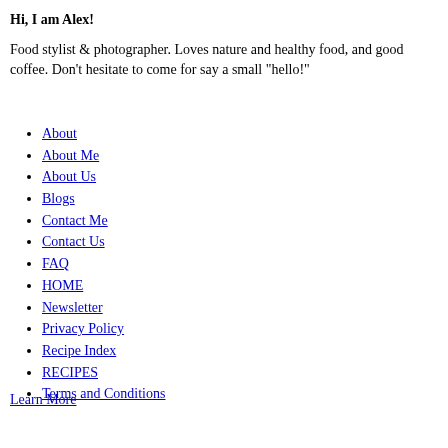Hi, I am Alex!
Food stylist & photographer. Loves nature and healthy food, and good coffee. Don't hesitate to come for say a small "hello!"
About
About Me
About Us
Blogs
Contact Me
Contact Us
FAQ
HOME
Newsletter
Privacy Policy
Recipe Index
RECIPES
Terms and Conditions
Learn More